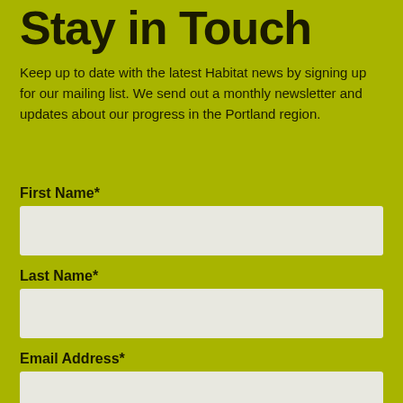Stay in Touch
Keep up to date with the latest Habitat news by signing up for our mailing list. We send out a monthly newsletter and updates about our progress in the Portland region.
First Name*
Last Name*
Email Address*